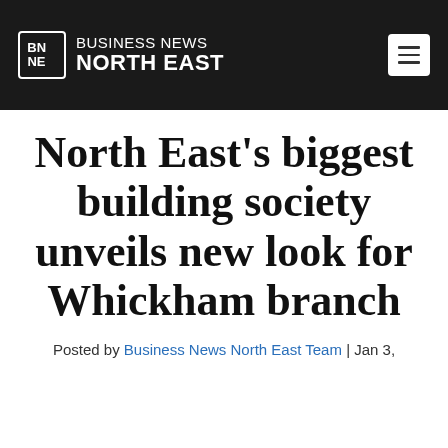BUSINESS NEWS NORTH EAST
North East's biggest building society unveils new look for Whickham branch
Posted by Business News North East Team | Jan 3,